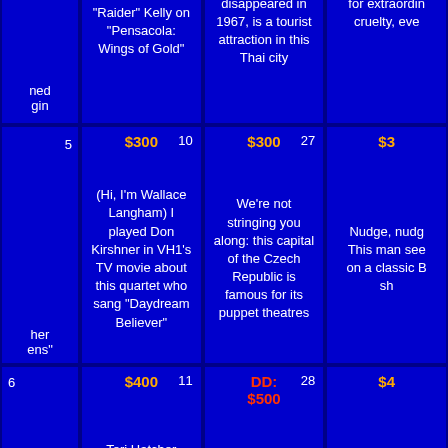| ned
gin | Barbra Streisand knows he played Lt. Col. Bill "Raider" Kelly on "Pensacola: Wings of Gold" | The home of silk merchant Jim Thompson, who disappeared in 1967, is a tourist attraction in this Thai city | Czar at 17, he... for extraordin... cruelty, eve... |
| 5 | $300 10 | We're not stringing you along: this capital of the Czech Republic is famous for its puppet theatres | $300 27 | Nudge, nudg... This man see... on a classic B... sh... |
| 6 | $400 11 | DD: $500 28 | Jomo Kenyatta International Airport serves this world capital | $4... |